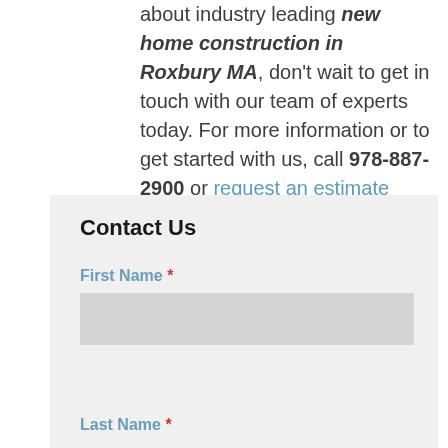about industry leading new home construction in Roxbury MA, don't wait to get in touch with our team of experts today. For more information or to get started with us, call 978-887-2900 or request an estimate online.
Contact Us
First Name *
Last Name *